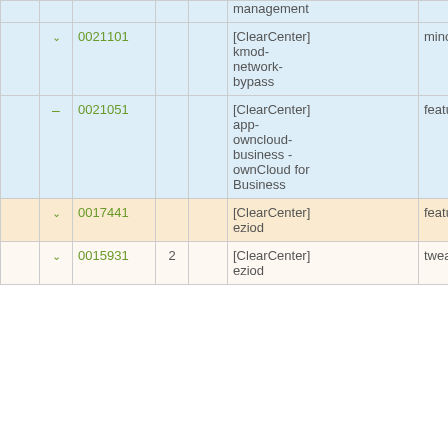|  |  | ID | Num |  | Name | Type |
| --- | --- | --- | --- | --- | --- | --- |
|  |  |  |  |  | management |  |
|  | ˅ | 0021101 |  |  | [ClearCenter] kmod-network-bypass | minor |
|  | – | 0021051 |  |  | [ClearCenter] app-owncloud-business - ownCloud for Business | feature |
|  | ˅ | 0017441 |  |  | [ClearCenter] eziod | feature |
|  | ˅ | 0015931 | 2 |  | [ClearCenter] eziod | tweak |